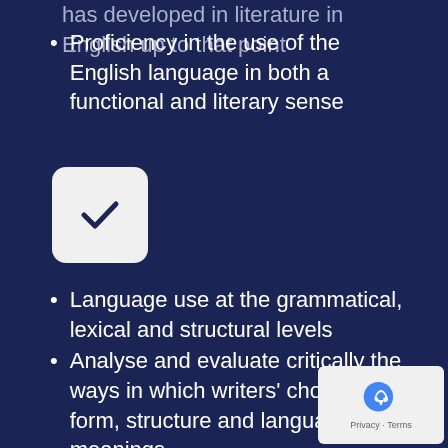has developed in literature in English up to that point
Proficiency in the use of the English language in both a functional and literary sense
[Figure (illustration): White rounded square with a dark checkmark inside, on dark navy background]
Language use at the grammatical, lexical and structural levels
Analyse and evaluate critically the ways in which writers' choices of form, structure and language shape meanings
Communicate clearly knowledge, understanding and insights appropriate to literary study
Develop an informed personal response
Make connections between their own ideas and experiences and
those in the text